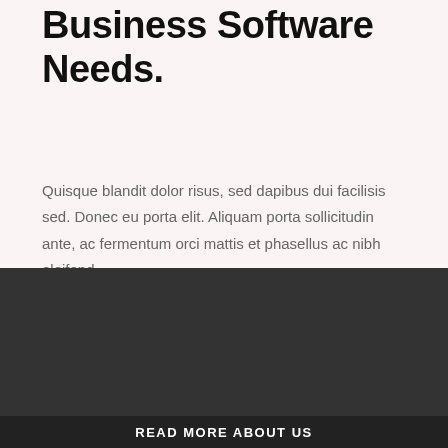Business Software Needs.
Quisque blandit dolor risus, sed dapibus dui facilisis sed. Donec eu porta elit. Aliquam porta sollicitudin ante, ac fermentum orci mattis et phasellus ac nibh eleifend.
READ MORE ABOUT US